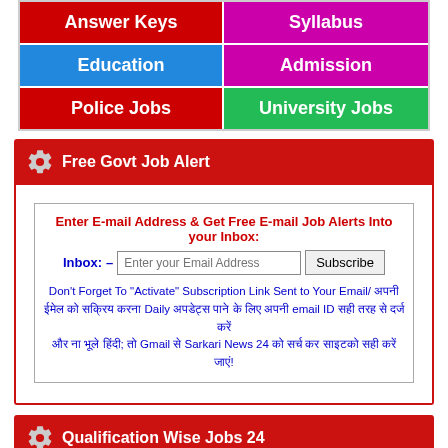[Figure (infographic): 2x2 grid of colored navigation buttons: Answer Keys (red), Syllabus (magenta), Education (blue), Admission (magenta), Police Jobs (red), University Jobs (green)]
Free Govt Job Alert
Enter E-mail Address & Get Free E-mail Job Alerts Into your Inbox: – [input field] Subscribe
Don't Forget To "Activate" Subscription Link Sent to Your Email/ [Hindi text about daily updates and Gmail Sarkari News 24]
Qualification Wise Jobs 24
10th/12th Jobs
B.A Jobs
BE/B.Tech Jobs